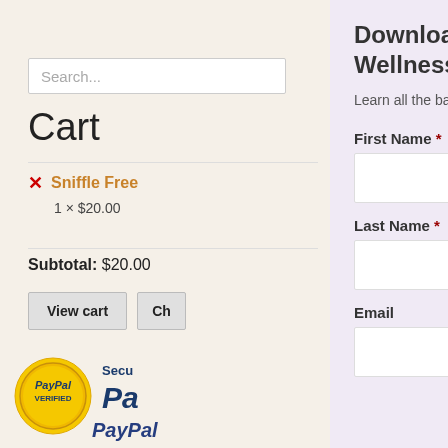Search...
Cart
✕ Sniffle Free
1 × $20.00
Subtotal: $20.00
View cart  Ch...
[Figure (logo): PayPal Verified badge and PayPal logo with security text]
Download the Guide To Ayurvedic Wellness
Learn all the basics about the Ayurvedic Routine
First Name *
Last Name *
Email
[Figure (logo): reCAPTCHA widget showing robot icon with Privacy - Terms text]